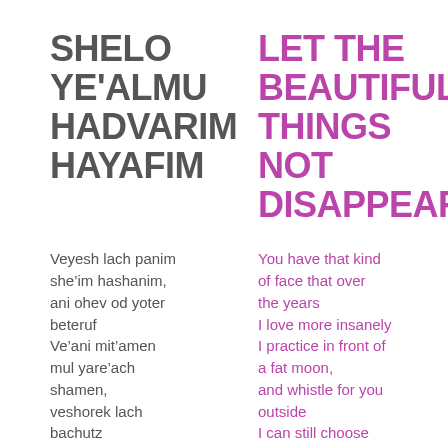SHELO YE'ALMU HADVARIM HAYAFIM
LET THE BEAUTIFUL THINGS NOT DISAPPEAR
Veyesh lach panim she’im hashanim, ani ohev od yoter beteruf Ve’ani mit’amen mul yare’ach shamen, veshorek lach bachutz Ani yachol od
You have that kind of face that over the years I love more insanely I practice in front of a fat moon, and whistle for you outside I can still choose the simple things,